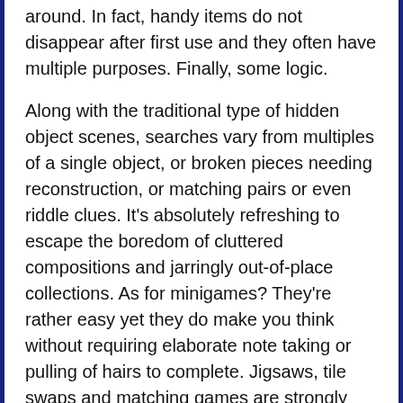around. In fact, handy items do not disappear after first use and they often have multiple purposes. Finally, some logic.
Along with the traditional type of hidden object scenes, searches vary from multiples of a single object, or broken pieces needing reconstruction, or matching pairs or even riddle clues. It's absolutely refreshing to escape the boredom of cluttered compositions and jarringly out-of-place collections. As for minigames? They're rather easy yet they do make you think without requiring elaborate note taking or pulling of hairs to complete. Jigsaws, tile swaps and matching games are strongly emphasized here but there are many adventure-centered quest tasks as well. Making good of the repetition, is the unique style and interesting artwork in the games.
Othonworld:
[Figure (photo): Partial photo visible at bottom right of page, appears to show a dark outdoor/nature scene]